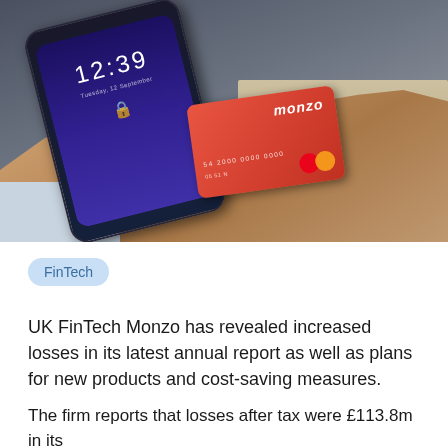[Figure (photo): A person holding a smartphone showing a lock screen (time 12:39) alongside a red Monzo debit card (Mastercard), photographed in what appears to be a bakery or café setting with baked goods visible in the background.]
FinTech
UK FinTech Monzo has revealed increased losses in its latest annual report as well as plans for new products and cost-saving measures.
The firm reports that losses after tax were £113.8m in its